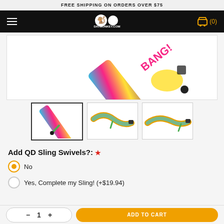FREE SHIPPING ON ORDERS OVER $75
[Figure (screenshot): E-commerce navigation bar with hamburger menu, DatMonkey.com logo, and shopping cart icon showing (0) items]
[Figure (photo): Main product image of a colorful comic-book style gun sling diagonal on white background]
[Figure (photo): Three product thumbnail images of gun slings: first selected with border, second and third unselected]
Add QD Sling Swivels?: *
No (selected)
Yes, Complete my Sling! (+$19.94)
[Figure (screenshot): Bottom bar with quantity selector and ADD TO CART button]